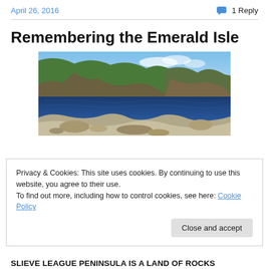April 26, 2016    💬 1 Reply
Remembering the Emerald Isle
[Figure (photo): Coastal landscape with dramatic sea cliffs, dark blue water, and green hills under a blue sky — Slieve League Peninsula, Ireland]
Privacy & Cookies: This site uses cookies. By continuing to use this website, you agree to their use.
To find out more, including how to control cookies, see here: Cookie Policy
Close and accept
SLIEVE LEAGUE PENINSULA IS A LAND OF ROCKS